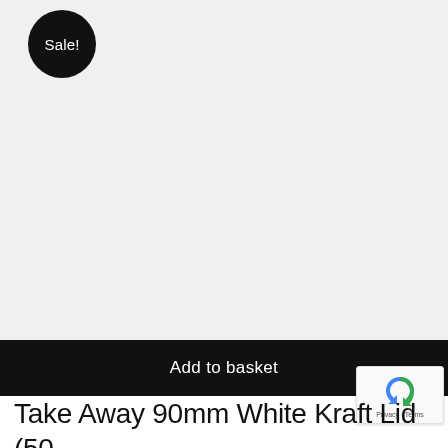[Figure (photo): Product image area with light grey background for Take Away 90mm White Kraft Lid. A 'Sale!' badge (black circle with white text) is overlaid at top-left.]
Add to basket
Take Away 90mm White Kraft Lid (50 per case)